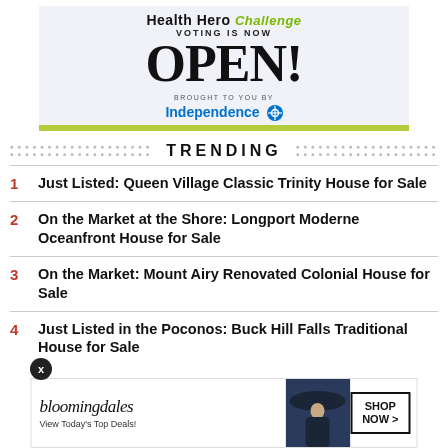[Figure (infographic): Health Hero Challenge advertisement banner: 'VOTING IS NOW OPEN!' brought to you by Independence Blue Cross]
TRENDING
1  Just Listed: Queen Village Classic Trinity House for Sale
2  On the Market at the Shore: Longport Moderne Oceanfront House for Sale
3  On the Market: Mount Airy Renovated Colonial House for Sale
4  Just Listed in the Poconos: Buck Hill Falls Traditional House for Sale
[Figure (infographic): Bloomingdale's advertisement: 'View Today's Top Deals!' with SHOP NOW button and woman in hat photo]